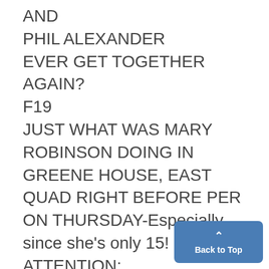AND
PHIL ALEXANDER
EVER GET TOGETHER AGAIN?
F19
JUST WHAT WAS MARY ROBINSON DOING IN GREENE HOUSE, EAST QUAD RIGHT BEFORE PER ON THURSDAY-Especially since she's only 15! F20
ATTENTION:
There is ABSOLUTELY no connection between the Eerch phone number in yesterday's DAILY and SEARCH. Please stop bugging me.